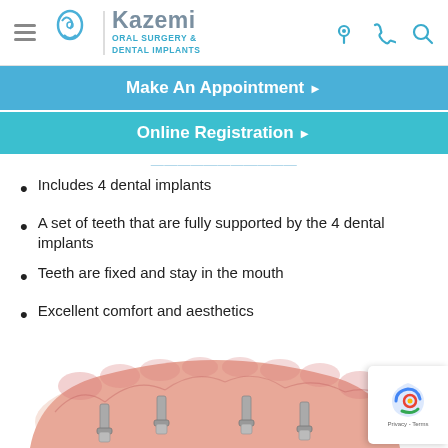Kazemi Oral Surgery & Dental Implants
Make An Appointment ▶
Online Registration ▶
Includes 4 dental implants
A set of teeth that are fully supported by the 4 dental implants
Teeth are fixed and stay in the mouth
Excellent comfort and aesthetics
Easy to clean and maintain
[Figure (photo): Illustration of a dental implant bridge (implant-supported denture) showing pink gum-colored arch with metal implant posts visible underneath, from a bottom-up perspective.]